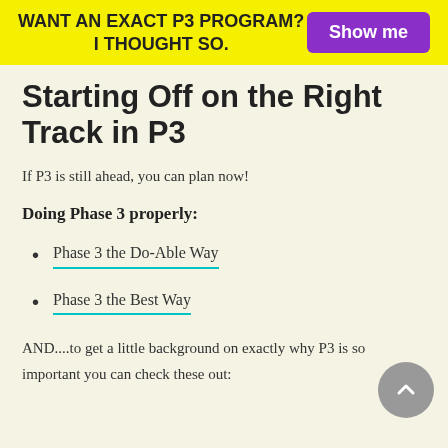WANT AN EXACT P3 PROGRAM? I THOUGHT SO.
Starting Off on the Right Track in P3
If P3 is still ahead, you can plan now!
Doing Phase 3 properly:
Phase 3 the Do-Able Way
Phase 3 the Best Way
AND....to get a little background on exactly why P3 is so important you can check these out: